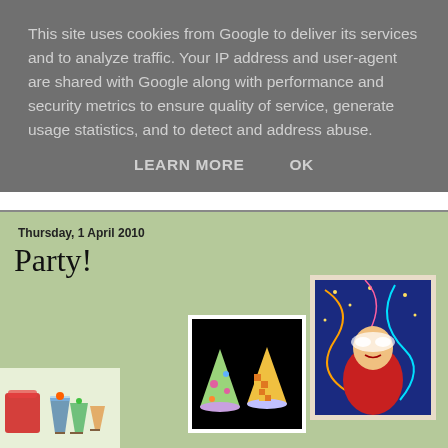This site uses cookies from Google to deliver its services and to analyze traffic. Your IP address and user-agent are shared with Google along with performance and security metrics to ensure quality of service, generate usage statistics, and to detect and address abuse.
LEARN MORE    OK
Thursday, 1 April 2010
Party!
[Figure (photo): Two colorful party hats (cone shaped) on black background — one with polka dots, one with checkered pattern]
[Figure (illustration): Carnival themed illustration with a masked figure in red costume against a deep blue background with stars and streamers]
[Figure (photo): Party drinks and food items including red jelly/gelatin and various colorful cocktails/beverages]